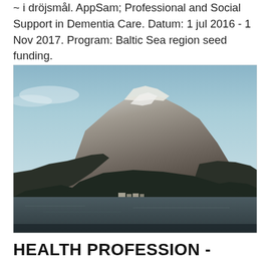~ i dröjsmål. AppSam; Professional and Social Support in Dementia Care. Datum: 1 jul 2016 - 1 Nov 2017. Program: Baltic Sea region seed funding.
[Figure (photo): Black and white / desaturated cool-toned photograph of a snow-capped mountain with rocky faces, forested lower slopes, and a calm lake or river in the foreground. Small buildings visible near the water's edge.]
HEALTH PROFESSION -